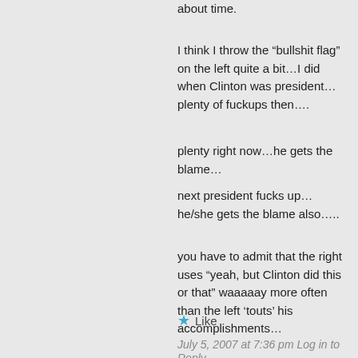about time.
I think I throw the “bullshit flag” on the left quite a bit…I did when Clinton was president…plenty of fuckups then….
plenty right now…he gets the blame…
next president fucks up…he/she gets the blame also…..
you have to admit that the right uses “yeah, but Clinton did this or that” waaaaay more often than the left ‘touts’ his accomplishments…
★ Like
July 5, 2007 at 7:36 pm Log in to Reply